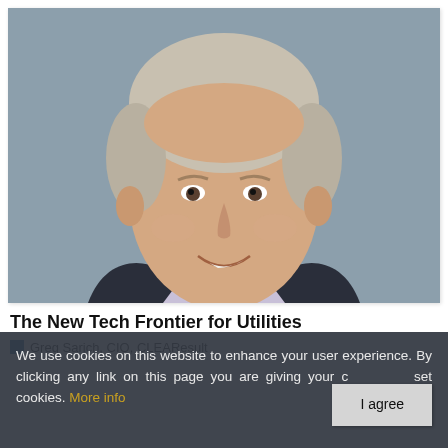[Figure (photo): Professional headshot of a middle-aged man with short gray hair, smiling, wearing a dark suit and light purple shirt with a tie, against a gray background.]
The New Tech Frontier for Utilities
Greg Sarich, CIO, CLEAResult
We use cookies on this website to enhance your user experience. By clicking any link on this page you are giving your consent to set cookies. More info